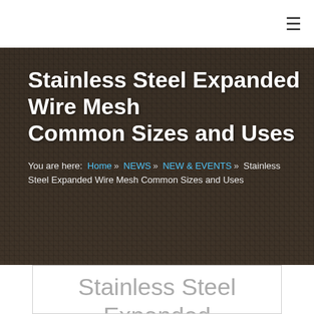≡
Stainless Steel Expanded Wire Mesh Common Sizes and Uses
You are here: Home » NEWS » NEW & EVENTS » Stainless Steel Expanded Wire Mesh Common Sizes and Uses
[Figure (photo): Background photo of stainless steel expanded wire mesh with dark overlay]
Stainless Steel Expanded Wire Mesh Common Sizes